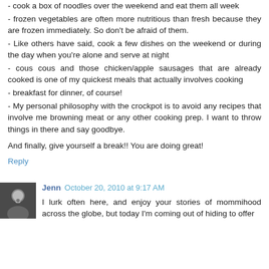- cook a box of noodles over the weekend and eat them all week
- frozen vegetables are often more nutritious than fresh because they are frozen immediately. So don't be afraid of them.
- Like others have said, cook a few dishes on the weekend or during the day when you're alone and serve at night
- cous cous and those chicken/apple sausages that are already cooked is one of my quickest meals that actually involves cooking
- breakfast for dinner, of course!
- My personal philosophy with the crockpot is to avoid any recipes that involve me browning meat or any other cooking prep. I want to throw things in there and say goodbye.
And finally, give yourself a break!! You are doing great!
Reply
Jenn  October 20, 2010 at 9:17 AM
I lurk often here, and enjoy your stories of mommihood across the globe, but today I'm coming out of hiding to offer